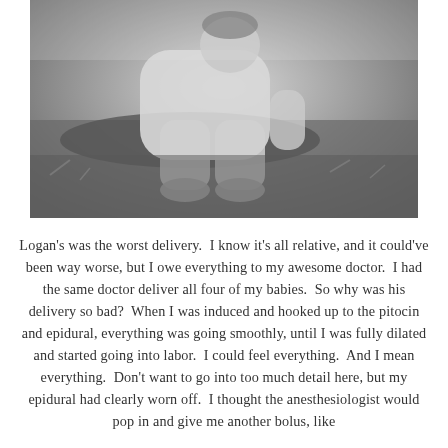[Figure (photo): Black and white photograph of a young child sitting on the ground outdoors, leaning against a rock or log, wearing light-colored clothing and sneakers, with grass and ground visible.]
Logan's was the worst delivery.  I know it's all relative, and it could've been way worse, but I owe everything to my awesome doctor.  I had the same doctor deliver all four of my babies.  So why was his delivery so bad?  When I was induced and hooked up to the pitocin and epidural, everything was going smoothly, until I was fully dilated and started going into labor.  I could feel everything.  And I mean everything.  Don't want to go into too much detail here, but my epidural had clearly worn off.  I thought the anesthesiologist would pop in and give me another bolus, like